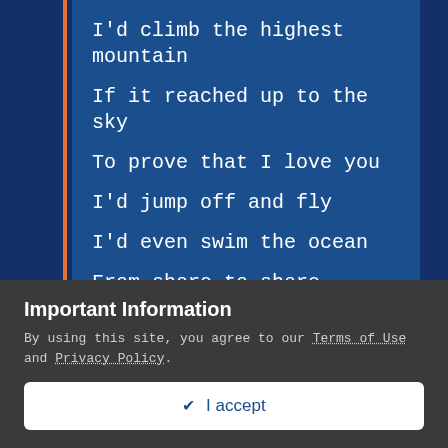I'd climb the highest mountain
If it reached up to the sky
To prove that I love you
I'd jump off and fly
I'd even swim the ocean
From shore to shore
To prove that I love you
A little bit more
Repeat Chorus
Important Information
By using this site, you agree to our Terms of Use and Privacy Policy.
✔ I accept